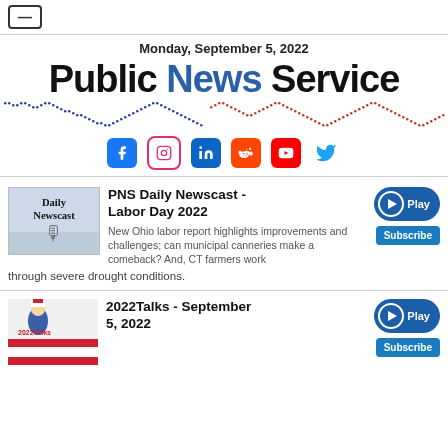— (menu button)
Monday, September 5, 2022
Public News Service
[Figure (illustration): World map made of colored dots (blue and red), followed by social media icons: Facebook, Instagram, LinkedIn, Reddit, YouTube, Twitter]
PNS Daily Newscast - Labor Day 2022
New Ohio labor report highlights improvements and challenges; can municipal canneries make a comeback? And, CT farmers work through severe drought conditions.
2022Talks - September 5, 2022